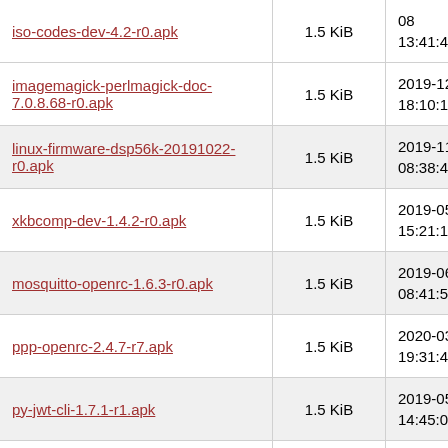| Name | Size | Date |
| --- | --- | --- |
| iso-codes-dev-4.2-r0.apk | 1.5 KiB | 08
13:41:40 |
| imagemagick-perlmagick-doc-7.0.8.68-r0.apk | 1.5 KiB | 2019-12-18
18:10:18 |
| linux-firmware-dsp56k-20191022-r0.apk | 1.5 KiB | 2019-11-13
08:38:41 |
| xkbcomp-dev-1.4.2-r0.apk | 1.5 KiB | 2019-05-08
15:21:11 |
| mosquitto-openrc-1.6.3-r0.apk | 1.5 KiB | 2019-06-19
08:41:52 |
| ppp-openrc-2.4.7-r7.apk | 1.5 KiB | 2020-03-10
19:31:45 |
| py-jwt-cli-1.7.1-r1.apk | 1.5 KiB | 2019-05-08
14:45:08 |
| rp-pppoe-openrc-3.13-r0.apk | 1.5 KiB | 2019-05-08
15:07:13 |